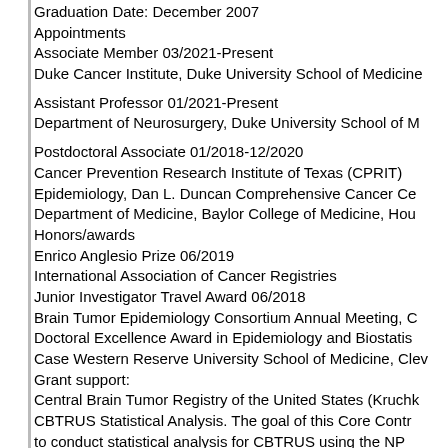Graduation Date: December 2007
Appointments
Associate Member 03/2021-Present
Duke Cancer Institute, Duke University School of Medicine
Assistant Professor 01/2021-Present
Department of Neurosurgery, Duke University School of M
Postdoctoral Associate 01/2018-12/2020
Cancer Prevention Research Institute of Texas (CPRIT) Epidemiology, Dan L. Duncan Comprehensive Cancer Ce Department of Medicine, Baylor College of Medicine, Hou
Honors/awards
Enrico Anglesio Prize 06/2019
International Association of Cancer Registries
Junior Investigator Travel Award 06/2018
Brain Tumor Epidemiology Consortium Annual Meeting, C
Doctoral Excellence Award in Epidemiology and Biostatis
Case Western Reserve University School of Medicine, Clev
Grant support:
Central Brain Tumor Registry of the United States (Kruchk CBTRUS Statistical Analysis. The goal of this Core Contr to conduct statistical analysis for CBTRUS using the NP Contract PI; CBTRUS Scientific Co-PI
Selected Publications
1. O...